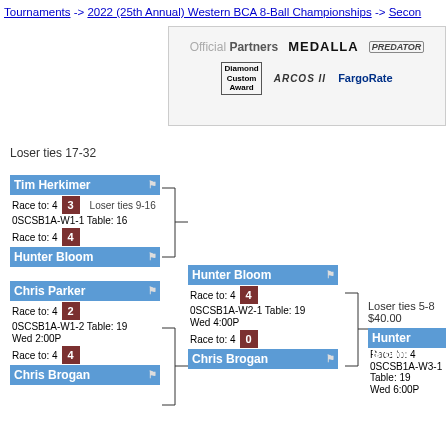Tournaments -> 2022 (25th Annual) Western BCA 8-Ball Championships -> Secon
[Figure (logo): Official Partners banner with logos: MEDALLA, PREDATOR, Diamond Custom Award, ARCOS II, FargoRate]
Loser ties 17-32
| Tim Herkimer | Race to: 4 | 3 | Loser ties 9-16 | OSCSB1A-W1-1 Table: 16 |
| Hunter Bloom | Race to: 4 | 4 |
| Hunter Bloom | Race to: 4 | 4 | OSCSB1A-W2-1 Table: 19 Wed 4:00P |
| Loser ties 5-8 | $40.00 |
| Hunter Bloom | Race to: 4 | OSCSB1A-W3-1 Table: 19 Wed 6:00P |
| Chris Parker | Race to: 4 | 2 | OSCSB1A-W1-2 Table: 19 Wed 2:00P |
| Chris Brogan | Race to: 4 | 0 |
| Chris Brogan | Race to: 4 | 4 |